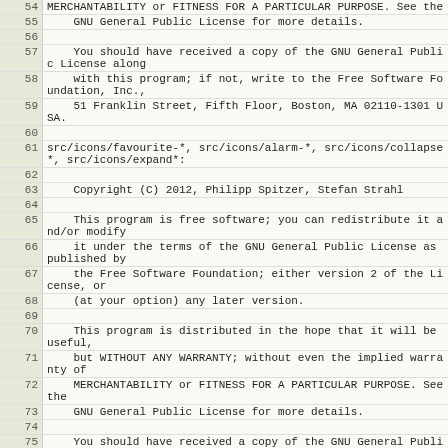54  MERCHANTABILITY or FITNESS FOR A PARTICULAR PURPOSE. See the
55      GNU General Public License for more details.
56
57      You should have received a copy of the GNU General Public License along
58      with this program; if not, write to the Free Software Foundation, Inc.,
59      51 Franklin Street, Fifth Floor, Boston, MA 02110-1301 USA.
60
61  src/icons/favourite-*, src/icons/alarm-*, src/icons/collapse*, src/icons/expand*:
62
63      Copyright (C) 2012, Philipp Spitzer, Stefan Strahl
64
65      This program is free software; you can redistribute it and/or modify
66      it under the terms of the GNU General Public License as published by
67      the Free Software Foundation; either version 2 of the License, or
68      (at your option) any later version.
69
70      This program is distributed in the hope that it will be useful,
71      but WITHOUT ANY WARRANTY; without even the implied warranty of
72      MERCHANTABILITY or FITNESS FOR A PARTICULAR PURPOSE. See the
73      GNU General Public License for more details.
74
75      You should have received a copy of the GNU General Public License along
76      with this program; if not, write to the Free Software